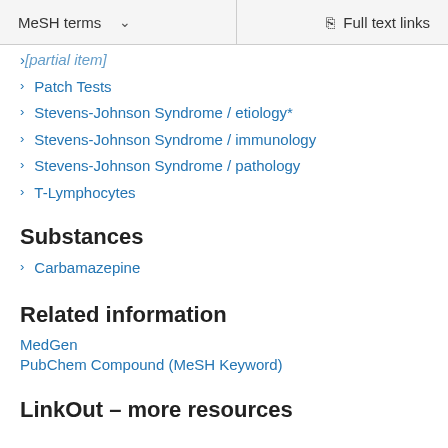MeSH terms   Full text links
[truncated item above]
Patch Tests
Stevens-Johnson Syndrome / etiology*
Stevens-Johnson Syndrome / immunology
Stevens-Johnson Syndrome / pathology
T-Lymphocytes
Substances
Carbamazepine
Related information
MedGen
PubChem Compound (MeSH Keyword)
LinkOut – more resources